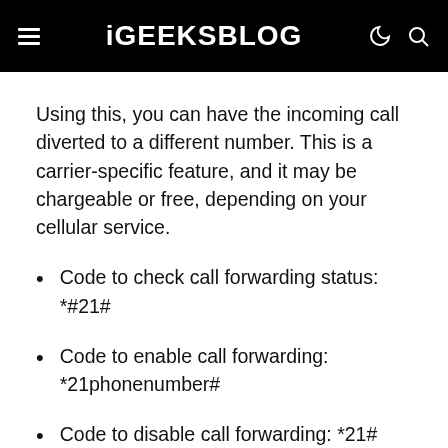iGEEKSBLOG
Using this, you can have the incoming call diverted to a different number. This is a carrier-specific feature, and it may be chargeable or free, depending on your cellular service.
Code to check call forwarding status: *#21#
Code to enable call forwarding: *21phonenumber#
Code to disable call forwarding: *21#